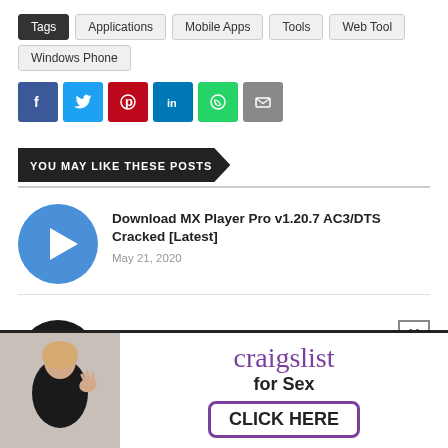Tags  Applications  Mobile Apps  Tools  Web Tool  Windows Phone
[Figure (infographic): Social share buttons: Facebook (blue), Twitter (light blue), Pinterest (red), LinkedIn (dark blue), WhatsApp (green), Email (gray)]
YOU MAY LIKE THESE POSTS
Download MX Player Pro v1.20.7 AC3/DTS Cracked [Latest]
May 21, 2020
Download IObit Uninstaller Pro v8.0.6.10 Crack
August 07, 2019
[Figure (photo): Advertisement banner: craigslist for Sex CLICK HERE, with image of a woman]